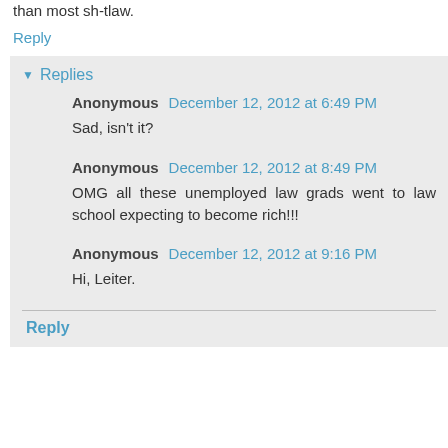than most sh-tlaw.
Reply
▾ Replies
Anonymous December 12, 2012 at 6:49 PM
Sad, isn't it?
Anonymous December 12, 2012 at 8:49 PM
OMG all these unemployed law grads went to law school expecting to become rich!!!
Anonymous December 12, 2012 at 9:16 PM
Hi, Leiter.
Reply